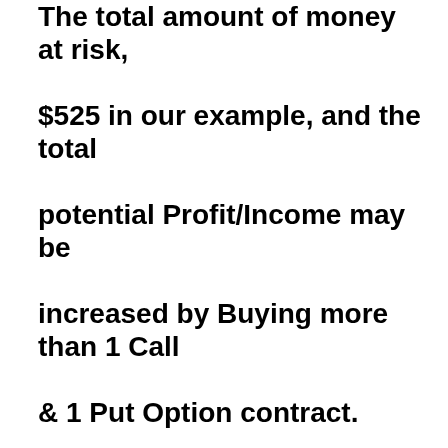The total amount of money at risk, $525 in our example, and the total potential Profit/Income may be increased by Buying more than 1 Call & 1 Put Option contract. Just four days after Opening the DJX Strangle position, on Thursday, June 30, the DJX was @ 179.30 (Dow 17,93))